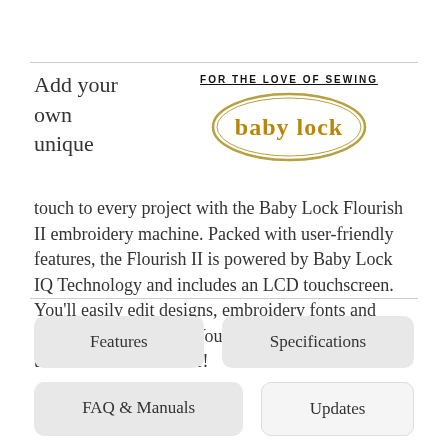[Figure (logo): Baby Lock logo — oval shape with 'baby lock' text in gold/brown, and 'FOR THE LOVE OF SEWING' tagline in bold underlined uppercase text]
Add your own unique touch to every project with the Baby Lock Flourish II embroidery machine. Packed with user-friendly features, the Flourish II is powered by Baby Lock IQ Technology and includes an LCD touchscreen. You'll easily edit designs, embroidery fonts and more all in one place. Your embroidery skills will thrive like never before!
Features
Specifications
FAQ & Manuals
Updates